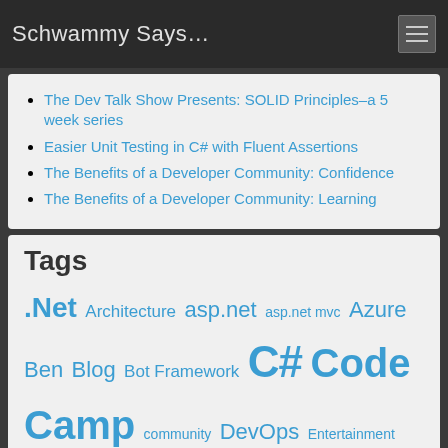Schwammy Says…
The Dev Talk Show Presents: SOLID Principles–a 5 week series
Easier Unit Testing in C# with Fluent Assertions
The Benefits of a Developer Community: Confidence
The Benefits of a Developer Community: Learning
Tags
.Net Architecture asp.net asp.net mvc Azure Ben Blog Bot Framework C# Code Camp community DevOps Entertainment Entity Framework Family Fun Stuff General Javascript jquery LINQ Microsoft MOQ Movies MSBuild MVVM NoDeNUG.org NUnit Philly.Net Silverlight SQL Server Subversion Team Foundation Server Tech-Ed 2007 TechBash Technology TFS … Uncategorized Unit